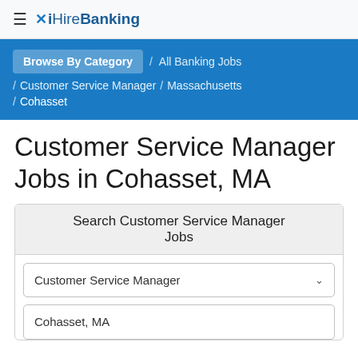≡  iHireBanking
Browse By Category / All Banking Jobs / Customer Service Manager / Massachusetts / Cohasset
Customer Service Manager Jobs in Cohasset, MA
Search Customer Service Manager Jobs
Customer Service Manager
Cohasset, MA